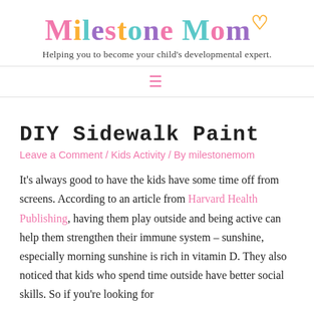Milestone Mom — Helping you to become your child's developmental expert.
DIY Sidewalk Paint
Leave a Comment / Kids Activity / By milestonemom
It's always good to have the kids have some time off from screens. According to an article from Harvard Health Publishing, having them play outside and being active can help them strengthen their immune system – sunshine, especially morning sunshine is rich in vitamin D. They also noticed that kids who spend time outside have better social skills. So if you're looking for